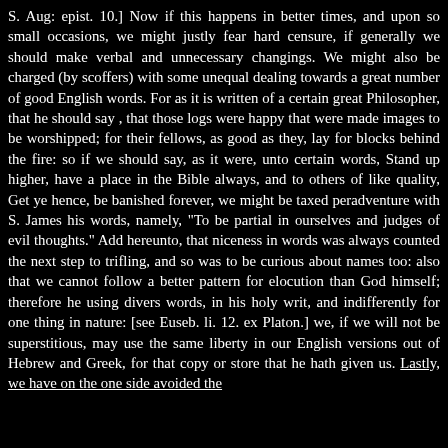S. Aug: epist. 10.] Now if this happens in better times, and upon so small occasions, we might justly fear hard censure, if generally we should make verbal and unnecessary changings. We might also be charged (by scoffers) with some unequal dealing towards a great number of good English words. For as it is written of a certain great Philosopher, that he should say , that those logs were happy that were made images to be worshipped; for their fellows, as good as they, lay for blocks behind the fire: so if we should say, as it were, unto certain words, Stand up higher, have a place in the Bible always, and to others of like quality, Get ye hence, be banished forever, we might be taxed peradventure with S. James his words, namely, "To be partial in ourselves and judges of evil thoughts." Add hereunto, that niceness in words was always counted the next step to trifling, and so was to be curious about names too: also that we cannot follow a better pattern for elocution than God himself; therefore he using divers words, in his holy writ, and indifferently for one thing in nature: [see Euseb. li. 12. ex Platon.] we, if we will not be superstitious, may use the same liberty in our English versions out of Hebrew and Greek, for that copy or store that he hath given us. Lastly, we have on the one side avoided the